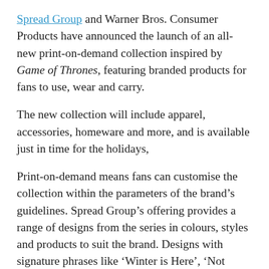Spread Group and Warner Bros. Consumer Products have announced the launch of an all-new print-on-demand collection inspired by Game of Thrones, featuring branded products for fans to use, wear and carry.
The new collection will include apparel, accessories, homeware and more, and is available just in time for the holidays,
Print-on-demand means fans can customise the collection within the parameters of the brand’s guidelines. Spread Group’s offering provides a range of designs from the series in colours, styles and products to suit the brand. Designs with signature phrases like ‘Winter is Here’, ‘Not Today’ or ‘A Lannister Always Pays His Debts’ are among the versatile collection.
The combination of customisation and print-on-demand produces a greater choice for fans, while offering a strong aspect of sustainability...